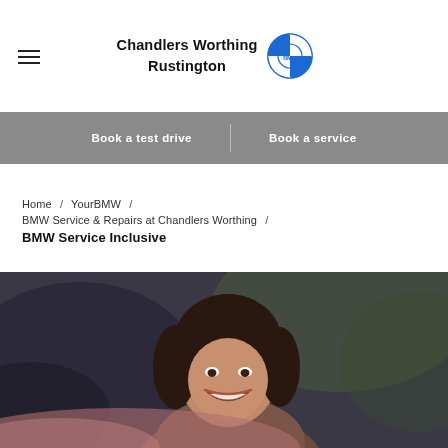Chandlers Worthing Rustington
Book a test drive | Book a service
Home / YourBMW / BMW Service & Repairs at Chandlers Worthing / BMW Service Inclusive
[Figure (photo): Smiling woman with short dark hair, sitting in a car, photographed from the side through the car window. Background is blurred greenery.]